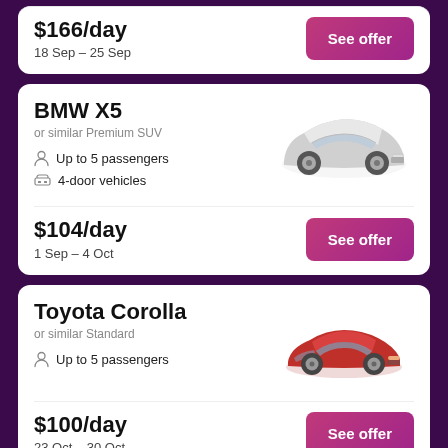$166/day
18 Sep – 25 Sep
See offer
BMW X5
or similar Premium SUV
Up to 5 passengers
4-door vehicles
[Figure (photo): Silver BMW X5 premium SUV, side-front view]
$104/day
1 Sep – 4 Oct
See offer
Toyota Corolla
or similar Standard
Up to 5 passengers
[Figure (photo): Red Toyota Corolla standard sedan, side-front view]
$100/day
23 Oct – 30 Oct
See offer